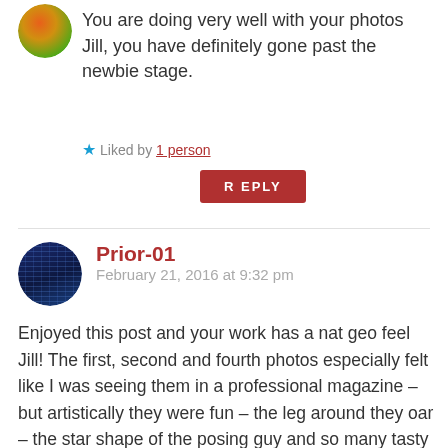You are doing very well with your photos Jill, you have definitely gone past the newbie stage.
★ Liked by 1 person
REPLY
Prior-01
February 21, 2016 at 9:32 pm
Enjoyed this post and your work has a nat geo feel Jill! The first, second and fourth photos especially felt like I was seeing them in a professional magazine – but artistically they were fun – the leg around they oar – the star shape of the posing guy and so many tasty things – it really is a good thing you got into photography because you show us parts of the world many of us never would see –